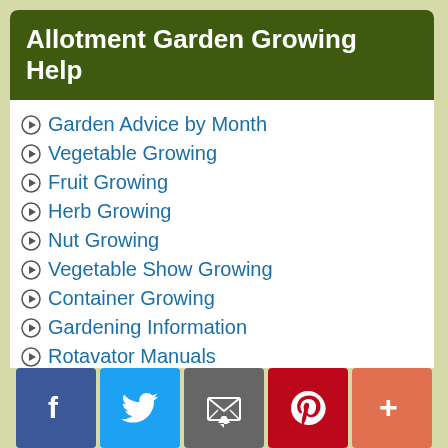Allotment Garden Growing Help
Garden Advice by Month
Vegetable Growing
Fruit Growing
Herb Growing
Nut Growing
Vegetable Show Growing
Container Growing
Gardening Information
Rotavator Manuals
Crop Rotation
Composts & Fertilisers
Greenhouse Growing
Polytunnel Growing
Allotment Information
Our Books
Comfrey
Product Reviews